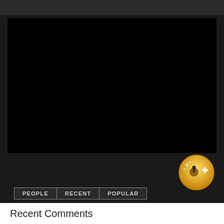[Figure (screenshot): Black video player area embedded in dark webpage]
[Figure (logo): Gold circular badge/icon with joystick and plus symbol]
PEOPLE   RECENT   POPULAR
Recent Comments
badassn Fortnite wouldn't be able to get exclusive rights to Dragonball. Dragonball is a